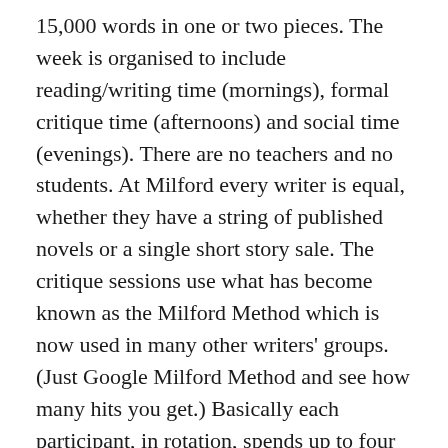15,000 words in one or two pieces. The week is organised to include reading/writing time (mornings), formal critique time (afternoons) and social time (evenings). There are no teachers and no students. At Milford every writer is equal, whether they have a string of published novels or a single short story sale. The critique sessions use what has become known as the Milford Method which is now used in many other writers' groups. (Just Google Milford Method and see how many hits you get.) Basically each participant, in rotation, spends up to four minutes (timed) giving their critique of the work at hand. No interruption, whether by the author or anyone else, is allowed during this stage of the proceedings. After everyone has spoken the author gets an uninterrupted right of reply and then this is followed by a more general discussion which is often continued over a good glass of red in the library after dinner.